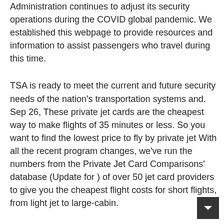Administration continues to adjust its security operations during the COVID global pandemic. We established this webpage to provide resources and information to assist passengers who travel during this time.
TSA is ready to meet the current and future security needs of the nation's transportation systems and. Sep 26, These private jet cards are the cheapest way to make flights of 35 minutes or less. So you want to find the lowest price to fly by private jet With all the recent program changes, we've run the numbers from the Private Jet Card Comparisons' database (Update for ) of over 50 jet card providers to give you the cheapest flight costs for short flights, from light jet to large-cabin.
The airline can modify flight schedules at any time. Couples Resorts will attempt to forward such notifications to the guest email provided at the time of booking. It is the passenger's responsibility to reconfirm their flight with the airline 24 hours prior to the travel date (by checking directly on the airline website or by phone). The TV Ad Special room rates are strictly based on availability, subject to change until confirmed with a deposit, with a few blackout dates subject to change.